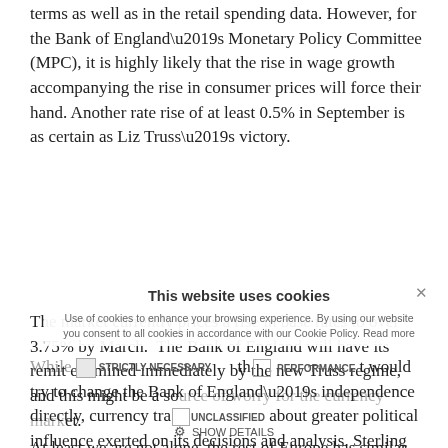terms as well as in the retail spending data. However, for the Bank of England’s Monetary Policy Committee (MPC), it is highly likely that the rise in wage growth accompanying the rise in consumer prices will force their hand. Another rate rise of at least 0.5% in September is as certain as Liz Truss’s victory.
The market currently prices a rise in base rates to over 3.75% by March. The Bank of England will have its remit examined immediately by the new Truss regime, and this might be a source of worry for the currency market.
While we think it unlikely that the government would try to change the Bank of England’s independence directly, currency traders may worry about greater political influence exerted on its decisions and analysis. Sterling has weakened both against a strong US Dollar and even a weak Euro, and fears of spiralling currency-induced inflation would be unhelpful.
At least we are not alone, the rest of Europe has similar